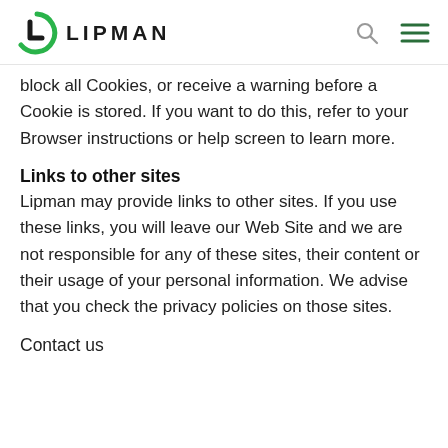LIPMAN
block all Cookies, or receive a warning before a Cookie is stored. If you want to do this, refer to your Browser instructions or help screen to learn more.
Links to other sites
Lipman may provide links to other sites. If you use these links, you will leave our Web Site and we are not responsible for any of these sites, their content or their usage of your personal information. We advise that you check the privacy policies on those sites.
Contact us